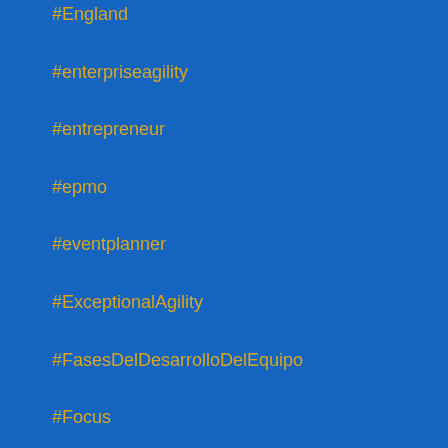#England
#enterpriseagility
#entrepreneur
#epmo
#eventplanner
#ExceptionalAgility
#FasesDelDesarrolloDelEquipo
#Focus
#Ford
#Formación